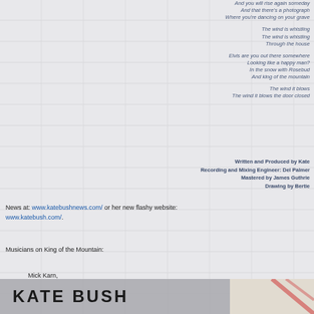And you will rise again someday
And that there's a photograph
Where you're dancing on your grave
The wind is whistling
The wind is whistling
Through the house
Elvis are you out there somewhere
Looking like a happy man?
In the snow with Rosebud
And king of the mountain
The wind it blows
The wind it blows the door closed
Written and Produced by Kate
Recording and Mixing Engineer: Del Palmer
Mastered by James Guthrie
Drawing by Bertie
News at: www.katebushnews.com/ or her new flashy website: www.katebush.com/.
Musicians on King of the Mountain:
Mick Karn,
KATE BUSH